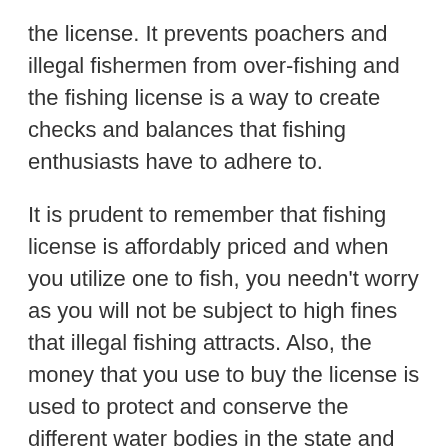the license. It prevents poachers and illegal fishermen from over-fishing and the fishing license is a way to create checks and balances that fishing enthusiasts have to adhere to.
It is prudent to remember that fishing license is affordably priced and when you utilize one to fish, you needn't worry as you will not be subject to high fines that illegal fishing attracts. Also, the money that you use to buy the license is used to protect and conserve the different water bodies in the state and educate people about the importance of protecting delicate water habitats and ecosystems.